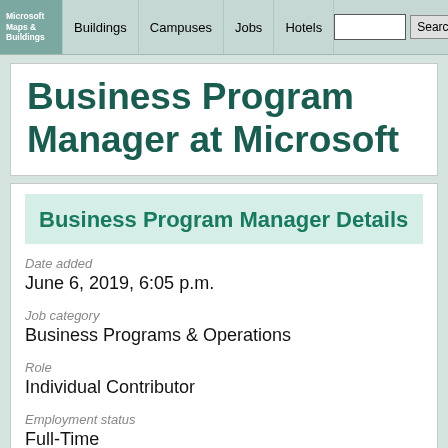Microsoft Maps & Buildings | Buildings | Campuses | Jobs | Hotels | Search | Contact
Business Program Manager at Microsoft
Business Program Manager Details
Date added
June 6, 2019, 6:05 p.m.
Job category
Business Programs & Operations
Role
Individual Contributor
Employment status
Full-Time